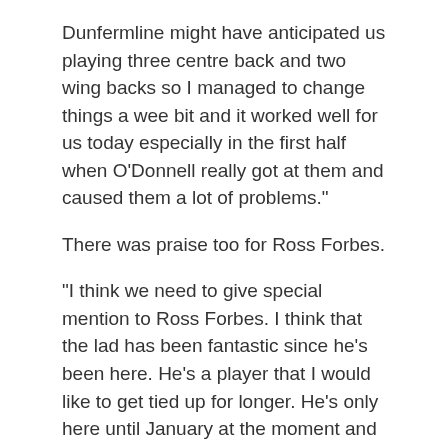Dunfermline might have anticipated us playing three centre back and two wing backs so I managed to change things a wee bit and it worked well for us today especially in the first half when O'Donnell really got at them and caused them a lot of problems."
There was praise too for Ross Forbes.
"I think we need to give special mention to Ross Forbes. I think that the lad has been fantastic since he's been here. He's a player that I would like to get tied up for longer. He's only here until January at the moment and he's only playing for appearance money. His desire to play football is excellent and he has a great ability."
It wasn't all good news yesterday, however, with Scott Fox picking up an injury that looks set to keep him out the side for a couple of months.
"I think it is a bad one and could be out for six to eight weeks. He slipped and tore his thigh. We'll have a think about what we should do. It'll be time for Hinchy the goalie coach to earn his corn."
There was a place on the bench yesterday for Mark